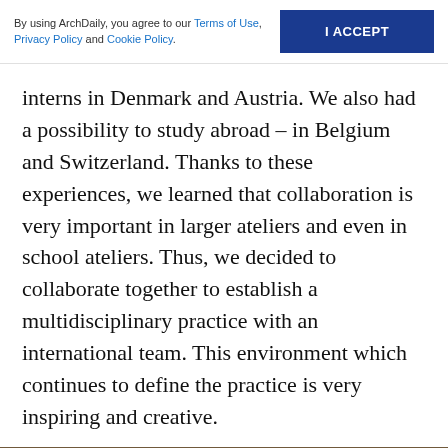By using ArchDaily, you agree to our Terms of Use, Privacy Policy and Cookie Policy. | I ACCEPT
interns in Denmark and Austria. We also had a possibility to study abroad – in Belgium and Switzerland. Thanks to these experiences, we learned that collaboration is very important in larger ateliers and even in school ateliers. Thus, we decided to collaborate together to establish a multidisciplinary practice with an international team. This environment which continues to define the practice is very inspiring and creative.
[Figure (photo): Architectural photograph of a building facade with large glass windows divided by dark vertical columns, with a concrete overhang ceiling visible, photographed at dusk or night with interior and exterior lighting creating a moody atmosphere. A blue 'Save' button with folder icon overlays the bottom-right of the image.]